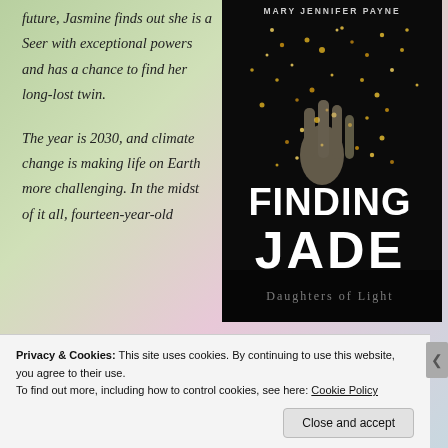future, Jasmine finds out she is a Seer with exceptional powers and has a chance to find her long-lost twin.
The year is 2030, and climate change is making life on Earth more challenging. In the midst of it all, fourteen-year-old
[Figure (illustration): Book cover for 'Finding Jade: Daughters of Light' by Mary Jennifer Payne. Dark background with golden glitter/sparkle effect, large white bold text reading 'FINDING JADE', subtitle 'Daughters of Light' at bottom, author name at top.]
Privacy & Cookies: This site uses cookies. By continuing to use this website, you agree to their use. To find out more, including how to control cookies, see here: Cookie Policy
Close and accept